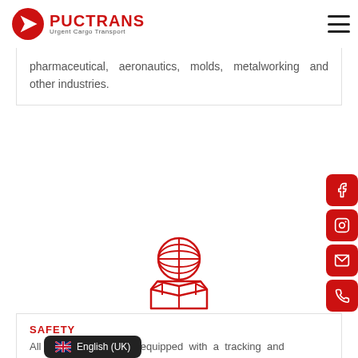PUCTRANS Urgent Cargo Transport
pharmaceutical, aeronautics, molds, metalworking and other industries.
[Figure (illustration): Red line-art icon of a globe sitting on top of an open shipping box, representing global cargo delivery.]
SAFETY
All of our vehicles are equipped with a tracking and ... hich allows you to know where your